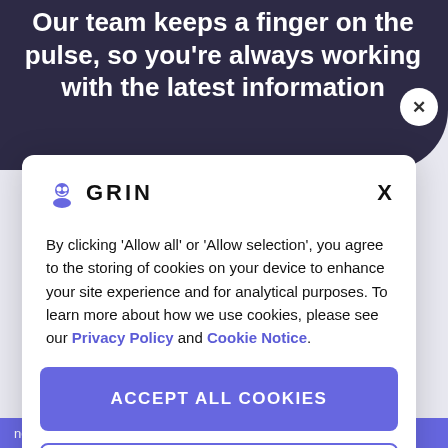Our team keeps a finger on the pulse, so you're always working with the latest information
[Figure (logo): GRIN logo with purple smiley icon and bold GRIN text]
By clicking 'Allow all' or 'Allow selection', you agree to the storing of cookies on your device to enhance your site experience and for analytical purposes. To learn more about how we use cookies, please see our Privacy Policy and Cookie Notice.
ACCEPT ALL COOKIES
COOKIES SETTINGS
news, and events. If you change your mind, you can